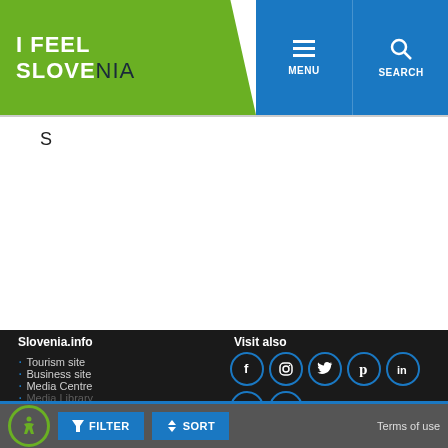[Figure (logo): I Feel Slovenia green logo with blue navigation bar showing MENU, SEARCH, ENG buttons]
S
Slovenia.info
Tourism site
Business site
Media Centre
Media Library
Visit also
[Figure (infographic): Social media icons: Facebook, Instagram, Twitter, Pinterest, LinkedIn, YouTube, TripAdvisor]
[Figure (infographic): Accessibility icon (wheelchair), FILTER button, SORT button, Terms of use link]